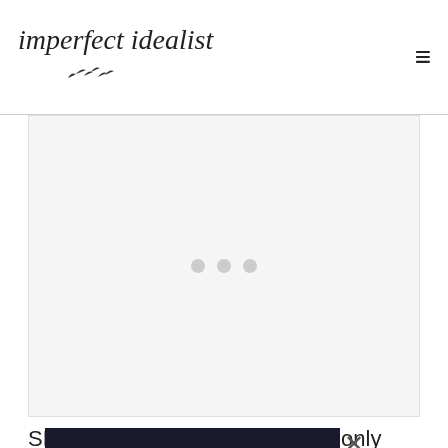imperfect idealist
[Figure (screenshot): Advertisement placeholder with three gray dots centered on light gray background]
SHE Media states that it should only take them
[Figure (screenshot): SHE CAN STEM advertisement banner with dark navy background and white bold text]